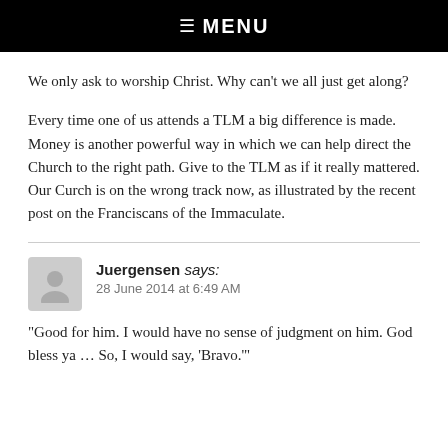☰ MENU
We only ask to worship Christ. Why can't we all just get along?
Every time one of us attends a TLM a big difference is made. Money is another powerful way in which we can help direct the Church to the right path. Give to the TLM as if it really mattered. Our Curch is on the wrong track now, as illustrated by the recent post on the Franciscans of the Immaculate.
Juergensen says:
28 June 2014 at 6:49 AM
“Good for him. I would have no sense of judgment on him. God bless ya … So, I would say, ‘Bravo.’”